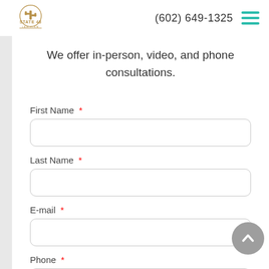[Figure (logo): State 48 Law Firm logo with cactus icon]
(602) 649-1325
We offer in-person, video, and phone consultations.
First Name *
Last Name *
E-mail *
Phone *